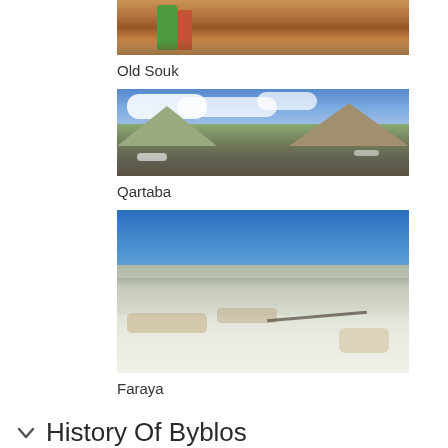[Figure (photo): Street scene at Old Souk, people walking on cobblestone lane with market stalls]
Old Souk
[Figure (photo): Panoramic mountain landscape at Qartaba with rocky terrain and clouds]
Qartaba
[Figure (photo): Aerial view of Faraya mountain slopes covered in snow under clear blue sky]
Faraya
History Of Byblos